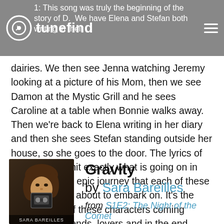tunefind
1: This song was truly the beginning of the story of D. We have Elena and Stefan both writing in their dairies. We then see Jenna watching Jeremy looking at a picture of his Mom, then we see Damon at the Mystic Grill and he sees Caroline at a table when Bonnie walks away. Then we’re back to Elena writing in her diary and then she sees Stefan standing outside her house, so she goes to the door. The lyrics of this song just hit exactly what is going on in the start to our epic journey that each of these characters are about to embark on. It’s the start of each of these characters coming together as friends, lovers and in the end, family.
[Figure (photo): Album art for Sara Bareilles showing a woman holding a cassette tape/camera near her face. Text at bottom reads SARA BAREILLES.]
Gravity
by Sara Bareilles
from S1E2: The Night of the Comet